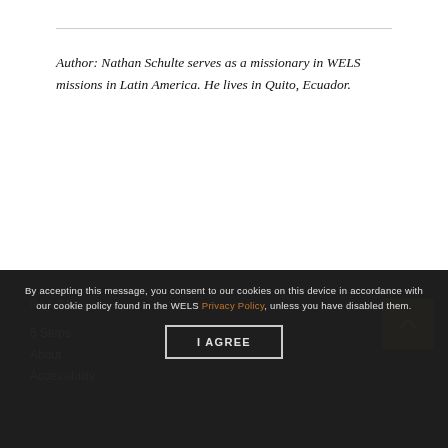Author: Nathan Schulte serves as a missionary in WELS missions in Latin America. He lives in Quito, Ecuador.
By accepting this message, you consent to our cookies on this device in accordance with our cookie policy found in the WELS Privacy Policy, unless you have disabled them. | I AGREE | PAGES | 5 Steps | About | Accessibility